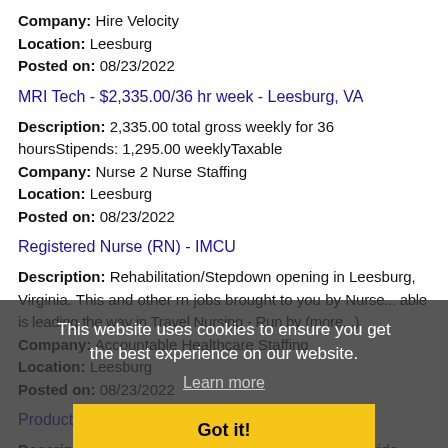Company: Hire Velocity
Location: Leesburg
Posted on: 08/23/2022
MRI Tech - $2,335.00/36 hr week - Leesburg, VA
Description: 2,335.00 total gross weekly for 36 hoursStipends: 1,295.00 weeklyTaxable
Company: Nurse 2 Nurse Staffing
Location: Leesburg
Posted on: 08/23/2022
Registered Nurse (RN) - IMCU
Description: Rehabilitation/Stepdown opening in Leesburg, Virginia. This and other rn jobs brought to you by Nu... able is leading the way in Travel Nursing - Run by (more...)
Company: Accountable Healthcare Staffing
Location: Leesburg
Posted on: 08/23/2022
This website uses cookies to ensure you get the best experience on our website.
Learn more
Got it!
Product Development Engineer
Description: OverviewREHAU is the premium worldwide brand for polymer-based innovations and systems in construction, automotive and industry. You encounter our systems every day